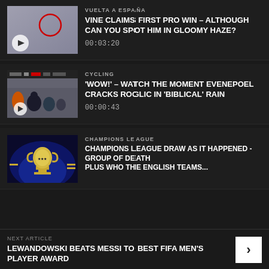[Figure (screenshot): Video thumbnail showing foggy/hazy scene with red circle highlight and play button]
VUELTA A ESPAÑA
VINE CLAIMS FIRST PRO WIN – ALTHOUGH CAN YOU SPOT HIM IN GLOOMY HAZE?
00:03:20
[Figure (screenshot): Video thumbnail showing cyclists riding in heavy rain/mist with play button]
CYCLING
'WOW!' – WATCH THE MOMENT EVENEPOEL CRACKS ROGLIC IN 'BIBLICAL' RAIN
00:00:43
[Figure (screenshot): Video thumbnail showing Champions League trophy with blue lighting]
CHAMPIONS LEAGUE
CHAMPIONS LEAGUE DRAW AS IT HAPPENED - GROUP OF DEATH PLUS WHO THE ENGLISH TEAMS...
NEXT ARTICLE
LEWANDOWSKI BEATS MESSI TO BEST FIFA MEN'S PLAYER AWARD